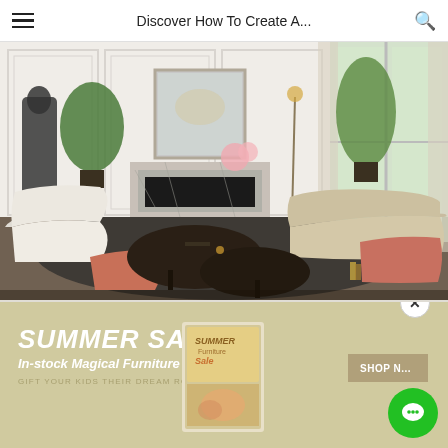Discover How To Create A...
[Figure (photo): Elegant luxury living room with white curved sofa, dark organic coffee tables, white armchair, terracotta chairs, marble fireplace, large mirror, classical statue, indoor plants, and floor-to-ceiling windows with sheer curtains.]
[Figure (infographic): Summer Sale banner with beige/tan background. Text reads: SUMMER SALE, In-stock Magical Furniture, GIFT YOUR KIDS THEIR DREAM ROOM. A catalog book image in the center, SHOP NOW button on the right.]